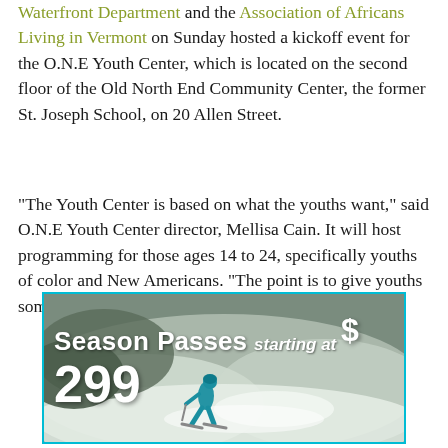Waterfront Department and the Association of Africans Living in Vermont on Sunday hosted a kickoff event for the O.N.E Youth Center, which is located on the second floor of the Old North End Community Center, the former St. Joseph School, on 20 Allen Street.
“The Youth Center is based on what the youths want,” said O.N.E Youth Center director, Mellisa Cain. It will host programming for those ages 14 to 24, specifically youths of color and New Americans. “The point is to give youths something to do, something positive,” continued Cain.
[Figure (photo): Advertisement banner showing a skier on a snowy slope with text 'Season Passes starting at $299']